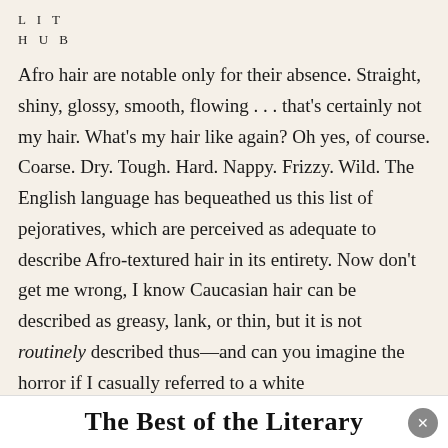L I T
H U B
Afro hair are notable only for their absence. Straight, shiny, glossy, smooth, flowing . . . that's certainly not my hair. What's my hair like again? Oh yes, of course. Coarse. Dry. Tough. Hard. Nappy. Frizzy. Wild. The English language has bequeathed us this list of pejoratives, which are perceived as adequate to describe Afro-textured hair in its entirety. Now don't get me wrong, I know Caucasian hair can be described as greasy, lank, or thin, but it is not routinely described thus—and can you imagine the horror if I casually referred to a white
The Best of the Literary